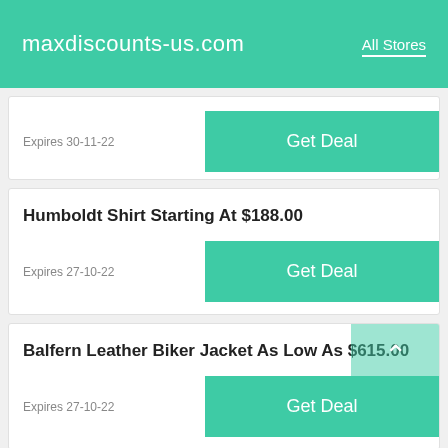maxdiscounts-us.com  All Stores
Expires 30-11-22
Humboldt Shirt Starting At $188.00
Expires 27-10-22
Balfern Leather Biker Jacket As Low As $615.00
Expires 27-10-22